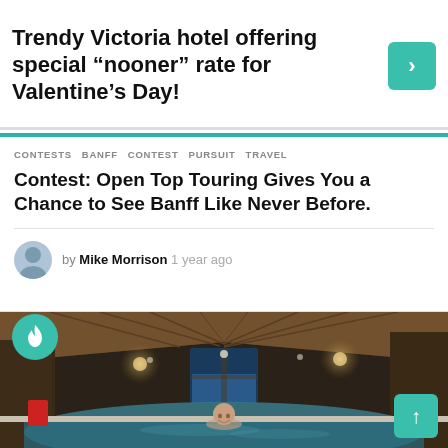Trendy Victoria hotel offering special “nooner” rate for Valentine’s Day!
CONTESTS  BANFF  CONTEST  PURSUIT  TRAVEL
Contest: Open Top Touring Gives You a Chance to See Banff Like Never Before.
by Mike Morrison 1 year ago
[Figure (photo): Interior photo of an indoor pool/hot spring area with wooden vaulted ceiling, arched window, wall sconces, and a smiling bald man in the water.]